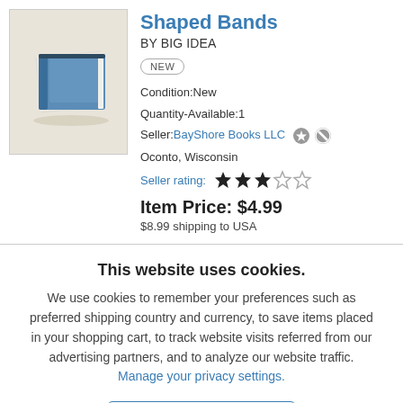[Figure (illustration): Stylized book icon with blue cover and white pages on a beige/tan background]
Shaped Bands
BY BIG IDEA
NEW
Condition:New
Quantity-Available:1
Seller:BayShore Books LLC  Oconto, Wisconsin
Seller rating: ★★★☆☆
Item Price: $4.99
$8.99 shipping to USA
This website uses cookies.
We use cookies to remember your preferences such as preferred shipping country and currency, to save items placed in your shopping cart, to track website visits referred from our advertising partners, and to analyze our website traffic. Manage your privacy settings.
AGREE AND CLOSE